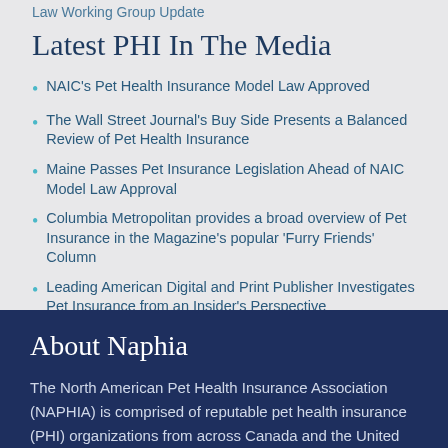Law Working Group Update
Latest PHI In The Media
NAIC's Pet Health Insurance Model Law Approved
The Wall Street Journal's Buy Side Presents a Balanced Review of Pet Health Insurance
Maine Passes Pet Insurance Legislation Ahead of NAIC Model Law Approval
Columbia Metropolitan provides a broad overview of Pet Insurance in the Magazine's popular 'Furry Friends' Column
Leading American Digital and Print Publisher Investigates Pet Insurance from an Insider's Perspective
About Naphia
The North American Pet Health Insurance Association (NAPHIA) is comprised of reputable pet health insurance (PHI) organizations from across Canada and the United